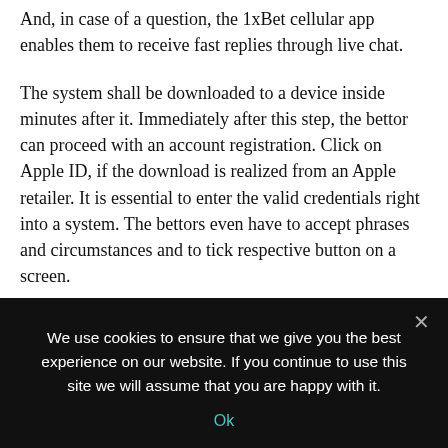And, in case of a question, the 1xBet cellular app enables them to receive fast replies through live chat.
The system shall be downloaded to a device inside minutes after it. Immediately after this step, the bettor can proceed with an account registration. Click on Apple ID, if the download is realized from an Apple retailer. It is essential to enter the valid credentials right into a system. The bettors even have to accept phrases and circumstances and to tick respective button on a screen.
This permits saving lots of time, which is very important in betting, since sometimes occasions in sports activities...
We use cookies to ensure that we give you the best experience on our website. If you continue to use this site we will assume that you are happy with it.
Ok